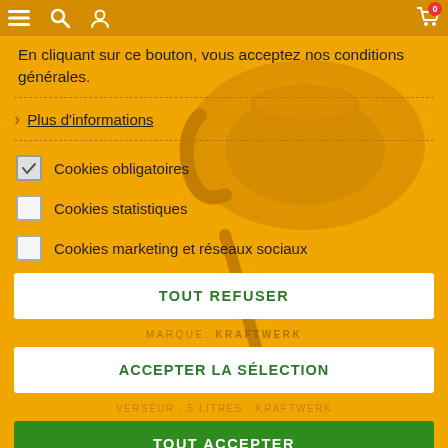En cliquant sur ce bouton, vous acceptez nos conditions générales.
Plus d'informations
Cookies obligatoires
Cookies statistiques
Cookies marketing et réseaux sociaux
TOUT REFUSER
ACCEPTER LA SÉLECTION
TOUT ACCEPTER
MARQUE: KRAFTWERK
VERSEUR · 5 LITRES · KRAFTWERK
KRAFTWERK